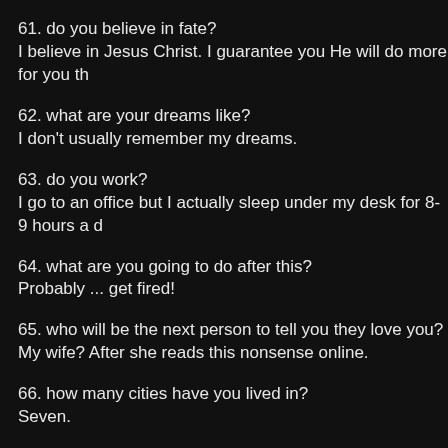61. do you believe in fate?
I believe in Jesus Christ. I guarantee you He will do more for you th
62. what are your dreams like?
I don't usually remember my dreams.
63. do you work?
I go to an office but I actually sleep under my desk for 8-9 hours a d
64. what are you going to do after this?
Probably ... get fired!
65. who will be the next person to tell you they love you?
My wife? After she reads this nonsense online.
66. how many cities have you lived in?
Seven.
67. what color is you comforter?
Green. Geniuses pick green.
68. are you more realistic or idealistic?